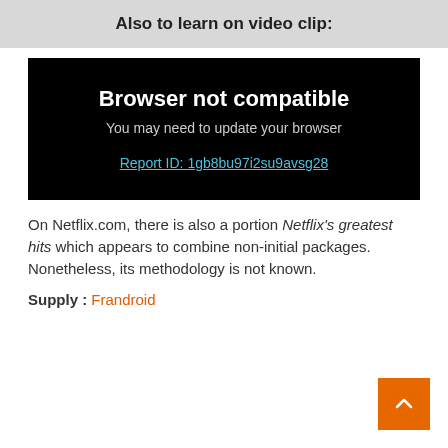Also to learn on video clip:
[Figure (screenshot): A black browser error screen showing 'Browser not compatible', 'You may need to update your browser', and a report ID link 'Report ID: 1gb8bu97i2su9avsg28']
On Netflix.com, there is also a portion Netflix's greatest hits which appears to combine non-initial packages. Nonetheless, its methodology is not known.
Supply : Frandroid